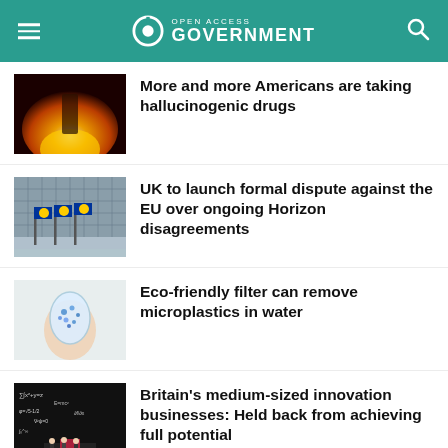Open Access Government
[Figure (photo): Person surrounded by orange fire/flames in a dark tunnel]
More and more Americans are taking hallucinogenic drugs
[Figure (photo): EU flags flying in front of a large grid-patterned building]
UK to launch formal dispute against the EU over ongoing Horizon disagreements
[Figure (photo): Hand holding a glass jar filled with blue microplastic beads in water]
Eco-friendly filter can remove microplastics in water
[Figure (photo): Miniature people in front of a blackboard covered with mathematical equations]
Britain's medium-sized innovation businesses: Held back from achieving full potential